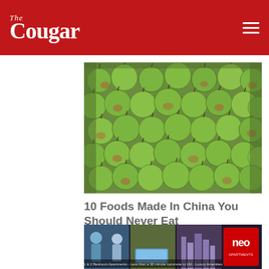The Cougar
[Figure (photo): A large tray or bin filled with many green apples (possibly Granny Smith or similar variety), photographed from above at a slight angle. The apples are piled together in a commercial or market setting.]
10 Foods Made In China You Should Never Eat
ZenLifeMag.com
[Figure (photo): Advertisement banner for 'neo' apartments. Shows lifestyle images of people and apartment amenities. Text reads '1 & 2 Bedroom Apartments - Less than a 30 minute commute to UH - Luxury Amenities'. NEO logo visible on the right side.]